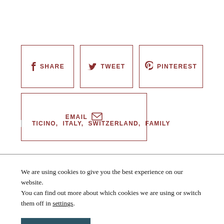f SHARE
TWEET
PINTEREST
EMAIL
TICINO, ITALY, SWITZERLAND, FAMILY
We are using cookies to give you the best experience on our website.
You can find out more about which cookies we are using or switch them off in settings.
ACCEPT